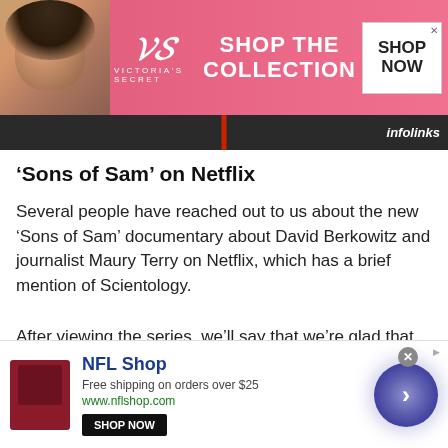[Figure (photo): Victoria's Secret advertisement banner with a woman model, VS logo, 'SHOP THE COLLECTION' text, and 'SHOP NOW' button on pink background]
[Figure (screenshot): Infolinks dark bar with red stripe in center and 'infolinks' label on right]
‘Sons of Sam’ on Netflix
Several people have reached out to us about the new ‘Sons of Sam’ documentary about David Berkowitz and journalist Maury Terry on Netflix, which has a brief mention of Scientology.
After viewing the series, we’ll say that we’re glad that some voices of reason like former NYPD Detective Joseph Borrelli play a prominent part in
[Figure (photo): NFL Shop advertisement with red jersey image, 'NFL Shop' brand name, 'Free shipping on orders over $25', www.nflshop.com URL, 'SHOP NOW' button, close button, and navigation arrow]